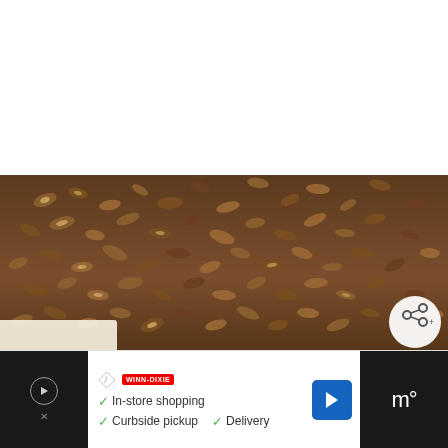[Figure (photo): Close-up photo of a pecan pie cheesecake bar showing layers: chopped pecan topping, cream cheese filling, and pastry crust, with a detached slice visible on the left side]
WHAT'S NEXT → Pecan Pie Pumpkin...
In-store shopping  Curbside pickup  Delivery